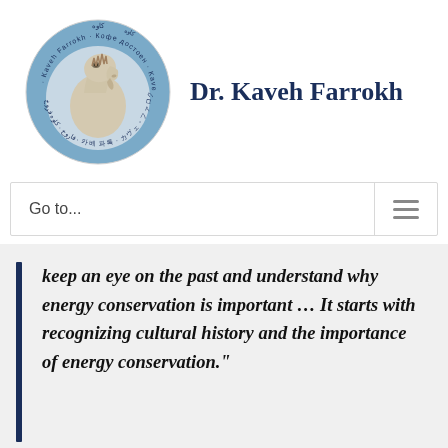[Figure (logo): Circular logo with a Persepolis horse head sculpture in the center, surrounded by text in multiple scripts including 'Kaveh Farrokh' in English and other scripts around the border]
Dr. Kaveh Farrokh
Go to...
keep an eye on the past and understand why energy conservation is important … It starts with recognizing cultural history and the importance of energy conservation."